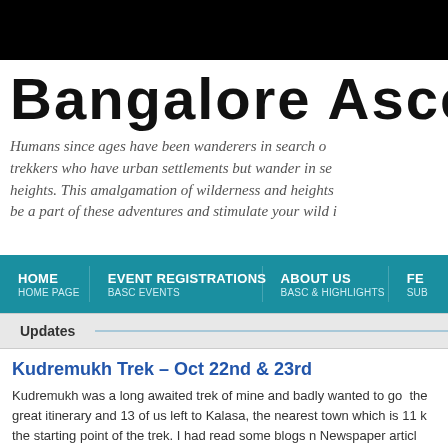BANGALORE ASCENT
Humans since ages have been wanderers in search of trekkers who have urban settlements but wander in search of heights. This amalgamation of wilderness and heights... be a part of these adventures and stimulate your wild i...
HOME HOME PAGE | EVENT REGISTRATIONS BASC EVENTS | ABOUT US BASC & HIGHLIGHTS | FEE SUB...
Updates
Kudremukh Trek – Oct 22nd & 23rd
Kudremukh was a long awaited trek of mine and badly wanted to go there. great itinerary and 13 of us left to Kalasa, the nearest town which is 11 k... the starting point of the trek. I had read some blogs n Newspaper articles converted into a tiger reserve and trekking will not be allowed and stuff...